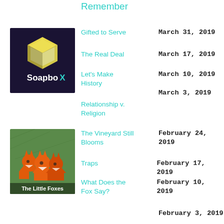Remember
[Figure (logo): SoapboX logo: dark purple background with yellow/white 3D cube and 'SoapboX' text in white]
Gifted to Serve — March 31, 2019
The Real Deal — March 17, 2019
Let's Make History — March 10, 2019
Relationship v. Religion — March 3, 2019
[Figure (illustration): The Little Foxes: three origami-style orange foxes on a green background with text 'The Little Foxes']
The Vineyard Still Blooms — February 24, 2019
Traps — February 17, 2019
What Does the Fox Say? — February 10, 2019
February 3, 2019